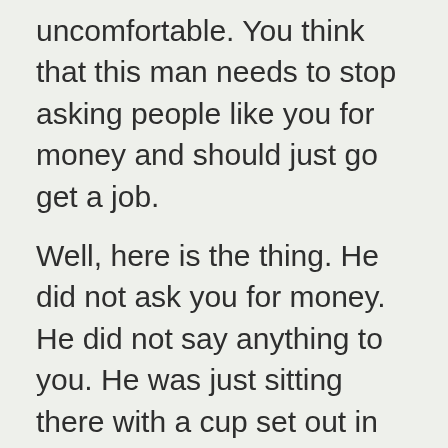uncomfortable. You think that this man needs to stop asking people like you for money and should just go get a job.
Well, here is the thing. He did not ask you for money. He did not say anything to you. He was just sitting there with a cup set out in front of him and it was your choice whether you decided to drop him a few coins. You do not know him. You do not know why he is homeless. And you do not know how he ended up there. No one gets up in the